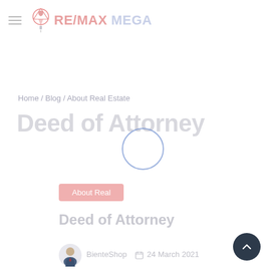[Figure (logo): RE/MAX MEGA real estate logo with hot air balloon icon]
Home / Blog / About Real Estate
Deed of Attorney
[Figure (other): Loading spinner circle (blue outline circle)]
About Real
Deed of Attorney
[Figure (illustration): Author avatar — person in suit illustration]
BienteShop   24 March 2021